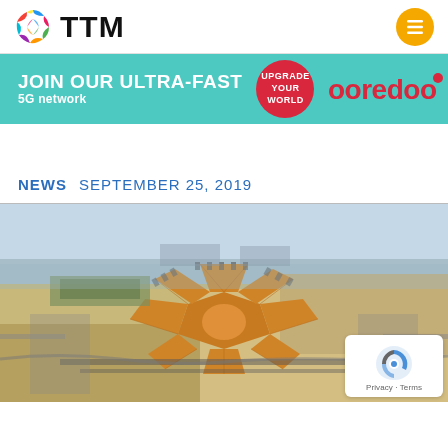TTM
[Figure (infographic): Ooredoo advertisement banner: JOIN OUR ULTRA-FAST 5G network with Upgrade Your World badge and Ooredoo logo on teal background]
NEWS   SEPTEMBER 25, 2019
[Figure (photo): Aerial photograph of a large star-shaped airport terminal (Beijing Daxing International Airport) with distinctive orange roof structure]